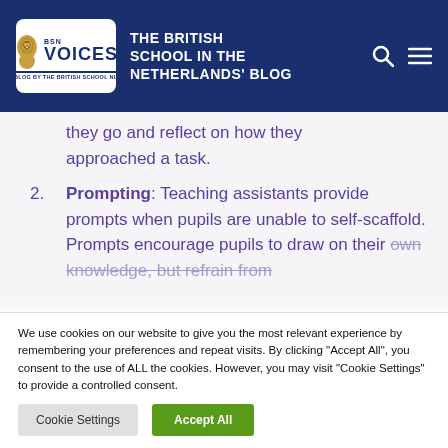BSN VOICES – THE BRITISH SCHOOL IN THE NETHERLANDS' BLOG
they go and reflect on how they approached a task.
2. Prompting: Teaching assistants provide prompts when pupils are unable to self-scaffold. Prompts encourage pupils to draw on their own knowledge, but refrain from…
We use cookies on our website to give you the most relevant experience by remembering your preferences and repeat visits. By clicking "Accept All", you consent to the use of ALL the cookies. However, you may visit "Cookie Settings" to provide a controlled consent.